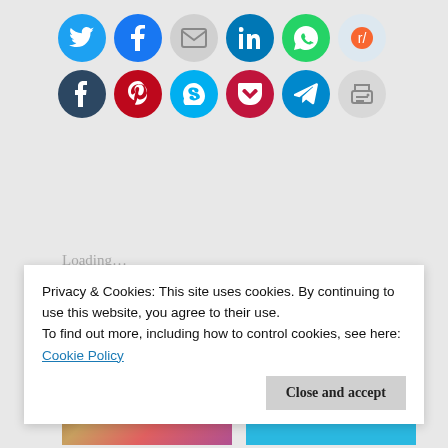[Figure (infographic): Row of social media sharing icon circles: Twitter (blue), Facebook (blue), Email (gray), LinkedIn (blue), WhatsApp (green), Reddit (light blue), Tumblr (dark navy), Pinterest (red), Skype (cyan), Pocket (red), Telegram (blue), Print (gray)]
Loading…
Related
[Figure (photo): Thumbnail photo of decorative arrangement with flowers and candles on pink background]
[Figure (photo): Thumbnail image with cyan/blue background and light italic text overlay]
Privacy & Cookies: This site uses cookies. By continuing to use this website, you agree to their use.
To find out more, including how to control cookies, see here: Cookie Policy
Close and accept